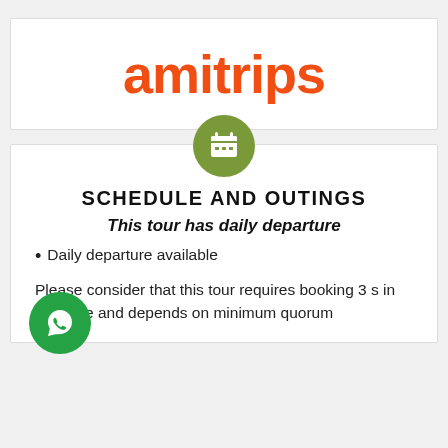[Figure (logo): Amitrips logo in orange/red color with stylized lowercase text]
[Figure (illustration): Green circle with white calendar icon]
SCHEDULE AND OUTINGS
This tour has daily departure
Daily departure available
Please consider that this tour requires booking 3 s in advance and depends on minimum quorum
[Figure (illustration): Green WhatsApp button circle on bottom left]